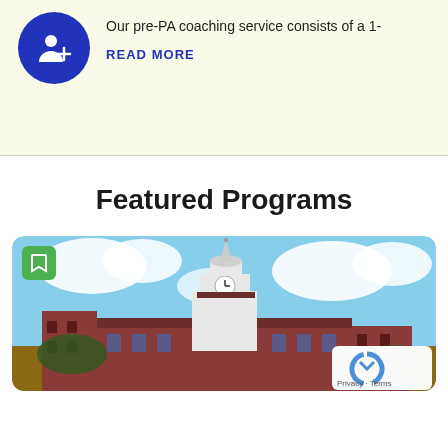Our pre-PA coaching service consists of a 1-
READ MORE
Featured Programs
[Figure (photo): Photograph of a historic brick university building with a white clock tower/cupola against a partly cloudy blue sky. A green bookmark icon button is overlaid at the top left of the image card.]